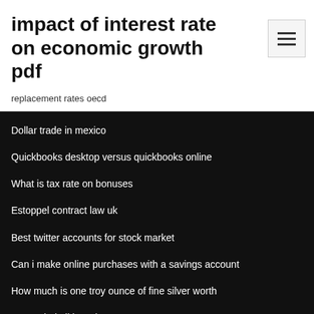impact of interest rate on economic growth pdf
replacement rates oecd
Dollar trade in mexico
Quickbooks desktop versus quickbooks online
What is tax rate on bonuses
Estoppel contract law uk
Best twitter accounts for stock market
Can i make online purchases with a savings account
How much is one troy ounce of fine silver worth
Best salad oil brand